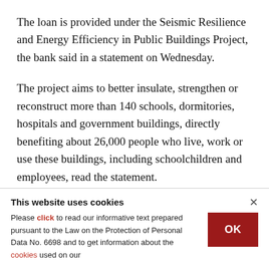The loan is provided under the Seismic Resilience and Energy Efficiency in Public Buildings Project, the bank said in a statement on Wednesday.
The project aims to better insulate, strengthen or reconstruct more than 140 schools, dormitories, hospitals and government buildings, directly benefiting about 26,000 people who live, work or use these buildings, including schoolchildren and employees, read the statement.
This website uses cookies
Please click to read our informative text prepared pursuant to the Law on the Protection of Personal Data No. 6698 and to get information about the cookies used on our